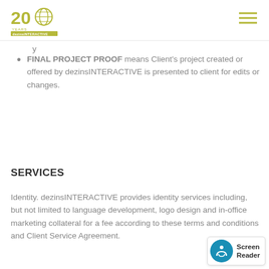dezinsINTERACTIVE 20 years logo and navigation
FINAL PROJECT PROOF means Client's project created or offered by dezinsINTERACTIVE is presented to client for edits or changes.
SERVICES
Identity. dezinsINTERACTIVE provides identity services including, but not limited to language development, logo design and in-office marketing collateral for a fee according to these terms and conditions and Client Service Agreement.